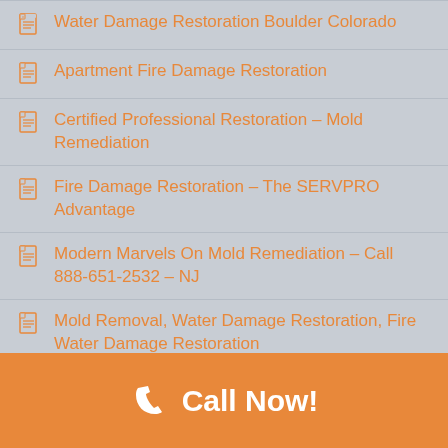Water Damage Restoration Boulder Colorado
Apartment Fire Damage Restoration
Certified Professional Restoration – Mold Remediation
Fire Damage Restoration – The SERVPRO Advantage
Modern Marvels On Mold Remediation – Call 888-651-2532 – NJ
Mold Removal, Water Damage Restoration, Fire Water Damage Restoration
Watergon – Water Damage Restoration Company
The 5-Minute Mold Remediation With OxyPrep And Oxypar
Call Now!